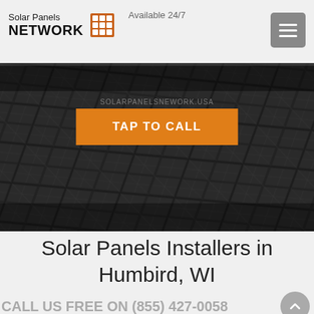Solar Panels NETWORK | Available 24/7
[Figure (screenshot): Solar panel array background image, dark/black tones showing photovoltaic panels at an angle]
TAP TO CALL
Solar Panels Installers in Humbird, WI
CALL US FREE ON (855) 427-0058